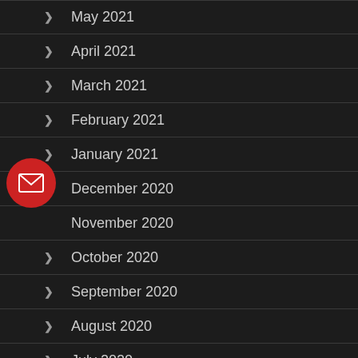May 2021
April 2021
March 2021
February 2021
January 2021
December 2020
November 2020
October 2020
September 2020
August 2020
July 2020
June 2020 (partial)